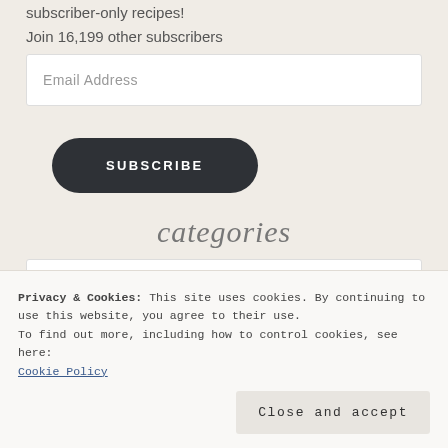subscriber-only recipes!
Join 16,199 other subscribers
Email Address
SUBSCRIBE
categories
Select Category
Privacy & Cookies: This site uses cookies. By continuing to use this website, you agree to their use.
To find out more, including how to control cookies, see here:
Cookie Policy
Close and accept